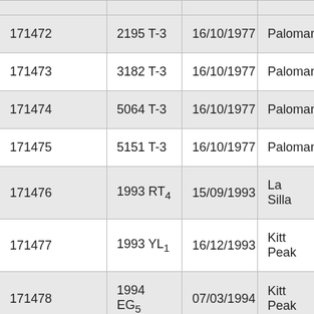| 171472 | 2195 T-3 | 16/10/1977 | Palomar |
| 171473 | 3182 T-3 | 16/10/1977 | Palomar |
| 171474 | 5064 T-3 | 16/10/1977 | Palomar |
| 171475 | 5151 T-3 | 16/10/1977 | Palomar |
| 171476 | 1993 RT4 | 15/09/1993 | La Silla |
| 171477 | 1993 YL1 | 16/12/1993 | Kitt Peak |
| 171478 | 1994 EG5 | 07/03/1994 | Kitt Peak |